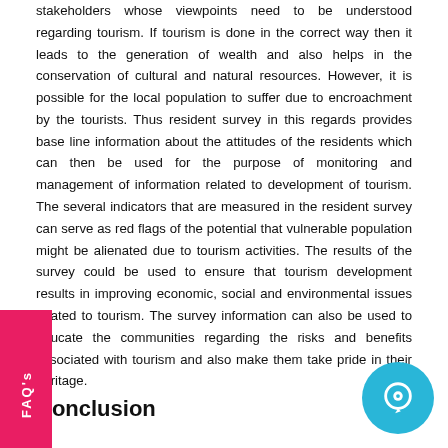stakeholders whose viewpoints need to be understood regarding tourism. If tourism is done in the correct way then it leads to the generation of wealth and also helps in the conservation of cultural and natural resources. However, it is possible for the local population to suffer due to encroachment by the tourists. Thus resident survey in this regards provides base line information about the attitudes of the residents which can then be used for the purpose of monitoring and management of information related to development of tourism. The several indicators that are measured in the resident survey can serve as red flags of the potential that vulnerable population might be alienated due to tourism activities. The results of the survey could be used to ensure that tourism development results in improving economic, social and environmental issues related to tourism. The survey information can also be used to educate the communities regarding the risks and benefits associated with tourism and also make them take pride in their heritage.
Conclusion